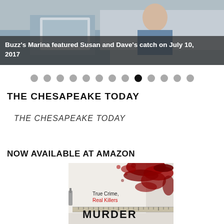[Figure (photo): Hero image showing a person at a computer, with a semi-transparent dark overlay at the bottom containing caption text: Buzz's Marina featured Susan and Dave's catch on July 10, 2017]
Buzz's Marina featured Susan and Dave's catch on July 10, 2017
[Figure (other): Row of 13 navigation dots, the 9th dot (from left) is filled black/active, the rest are grey]
THE CHESAPEAKE TODAY
THE CHESAPEAKE TODAY
NOW AVAILABLE AT AMAZON
[Figure (photo): Book cover for 'Murder' with True Crime, Real Killers text and blood splatter imagery on a grey/white background with a binder clip and ruler element]